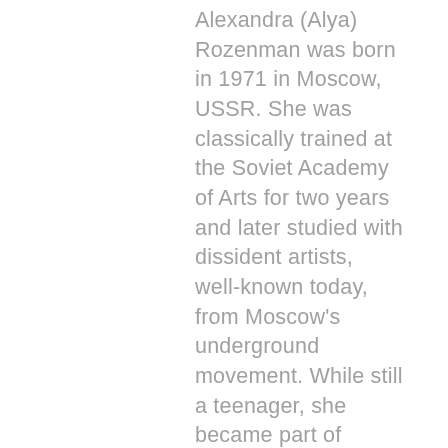Alexandra (Alya) Rozenman was born in 1971 in Moscow, USSR. She was classically trained at the Soviet Academy of Arts for two years and later studied with dissident artists, well-known today, from Moscow's underground movement. While still a teenager, she became part of Moscow's alternative scene of the 1980s. After immigrating to the US, she spent the early 1990s in New York, becoming a part of what later became the International Art Alliance on the Lower East Side and earning her BFA from SUNY in 1993. She later relocated to Boston, earning an MFA from the School of the Museum of Fine Arts at Tufts in 1998, and studying with Gerry Bergstein and Robert Ferrandini. Her paintings and drawings blend the styles and symbols of folk art, Russian Underground Conceptualism, illustration, and